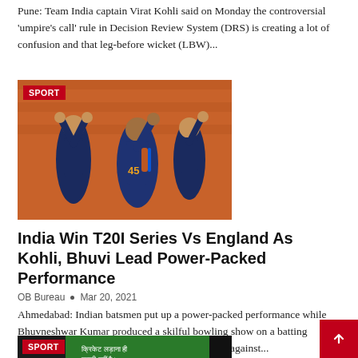Pune: Team India captain Virat Kohli said on Monday the controversial 'umpire's call' rule in Decision Review System (DRS) is creating a lot of confusion and that leg-before wicket (LBW)...
[Figure (photo): Indian cricket players celebrating with hands raised, wearing blue jerseys, stadium seating visible in background. SPORT badge in top-left corner.]
India Win T20I Series Vs England As Kohli, Bhuvi Lead Power-Packed Performance
OB Bureau • Mar 20, 2021
Ahmedabad: Indian batsmen put up a power-packed performance while Bhuvneshwar Kumar produced a skilful bowling show on a batting paradise as India won the final T20 International against...
[Figure (photo): Partially visible bottom photo with SPORT badge, appears to show cricket-related content with green background and Hindi text.]